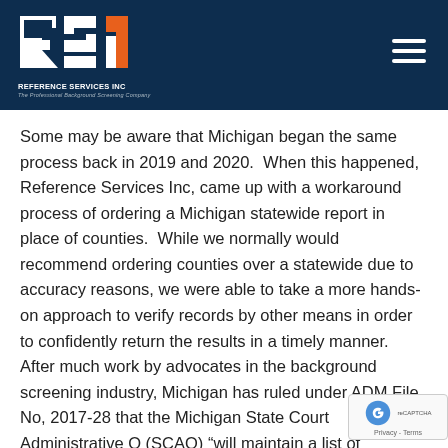[Figure (logo): RSi Reference Services Inc logo with orange and white lettering on dark navy background, with hamburger menu icon on the right]
Some may be aware that Michigan began the same process back in 2019 and 2020.  When this happened, Reference Services Inc, came up with a workaround process of ordering a Michigan statewide report in place of counties.  While we normally would recommend ordering counties over a statewide due to accuracy reasons, we were able to take a more hands-on approach to verify records by other means in order to confidently return the results in a timely manner.  After much work by advocates in the background screening industry, Michigan has ruled under ADM File No, 2017-28 that the Michigan State Court Administrative O (SCAO) “will maintain a list of authorized individuals may have access to a party’s date of birth contained in